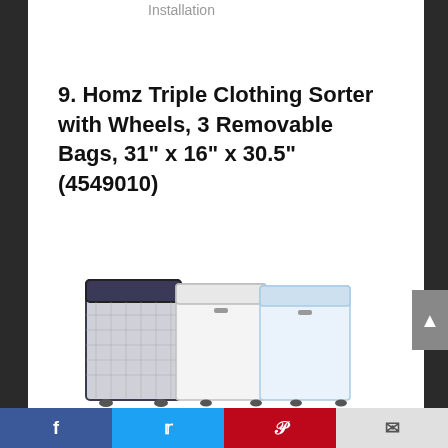Installation
9. Homz Triple Clothing Sorter with Wheels, 3 Removable Bags, 31" x 16" x 30.5" (4549010)
[Figure (photo): Photo of a triple laundry clothing sorter with three mesh bags — one dark blue/grey on the left and two lighter white/light blue bags on the right, with a metal frame structure.]
Social share bar with Facebook, Twitter, Pinterest, and Email buttons